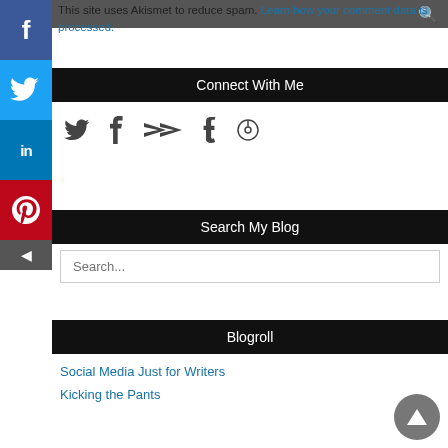☰ [hamburger menu] [search icon]
This site uses Akismet to reduce spam. Learn how your comment data is processed.
Connect With Me
[Figure (infographic): Row of social media icons: Twitter bird, Facebook f, forward/share arrow, Tumblr t, Pinterest circle pin]
Search My Blog
Search...
Blogroll
Social Media Just for Writers
Kicking the Pants